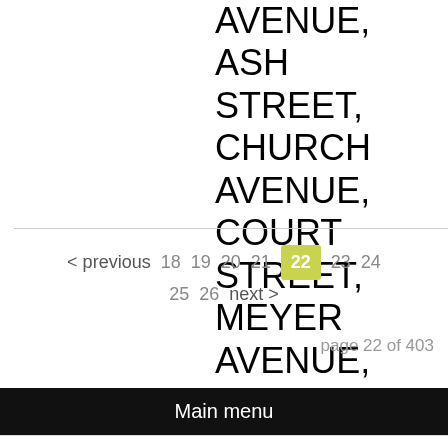AVENUE, ASH STREET, CHURCH AVENUE, COURT STREET, MEYER AVENUE, LEVELS
< previous  18  19  20  21  22  23  24  25  26  next >
page 22 of 403
Main menu